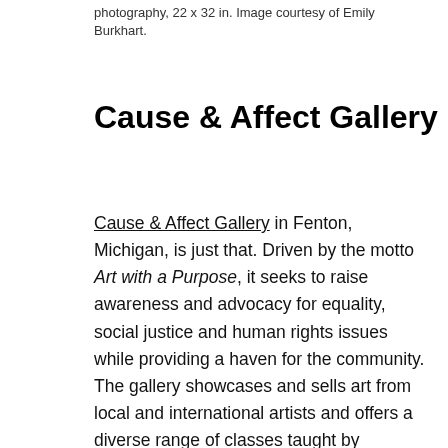photography, 22 x 32 in. Image courtesy of Emily Burkhart.
Cause & Affect Gallery
Cause & Affect Gallery in Fenton, Michigan, is just that. Driven by the motto Art with a Purpose, it seeks to raise awareness and advocacy for equality, social justice and human rights issues while providing a haven for the community. The gallery showcases and sells art from local and international artists and offers a diverse range of classes taught by members who are masters of their craft. A commitment to inclusion and making art education accessible to everyone regardless of race, ethnicity, age, ability, gender or sexual orientation is why the gallery exists. Owner